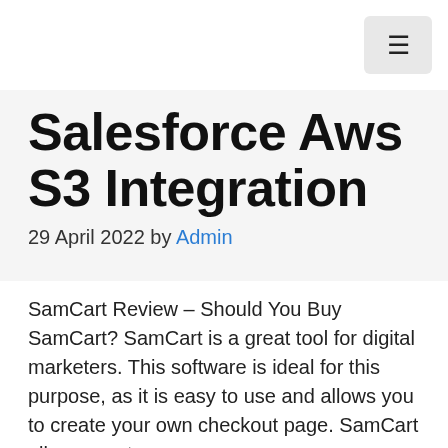☰
Salesforce Aws S3 Integration
29 April 2022 by Admin
SamCart Review – Should You Buy SamCart? SamCart is a great tool for digital marketers. This software is ideal for this purpose, as it is easy to use and allows you to create your own checkout page. SamCart allows you to